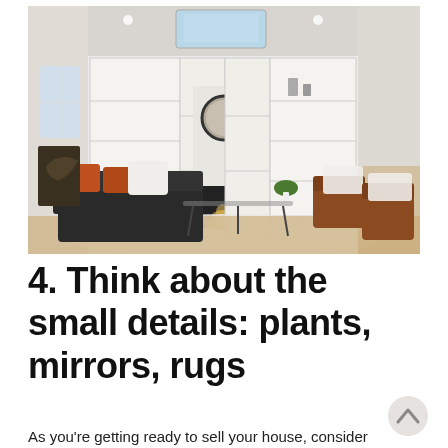[Figure (photo): Bright modern living room with white built-in bookshelves flanking a fireplace, dark sofa with orange and white cushions, brown leather chairs, glass coffee table, round mirror above fireplace, and a skylight.]
4. Think about the small details: plants, mirrors, rugs
As you're getting ready to sell your house, consider